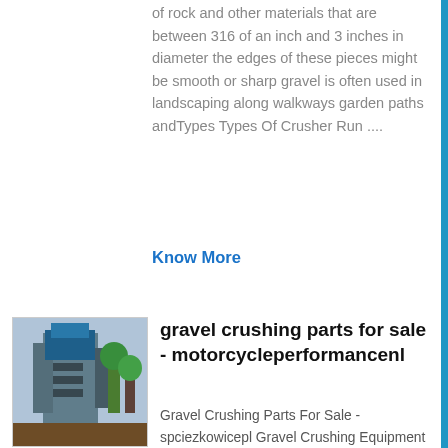of rock and other materials that are between 316 of an inch and 3 inches in diameter the edges of these pieces might be smooth or sharp gravel is often used in landscaping along walkways garden paths andTypes Types Of Crusher Run ....
Know More
[Figure (photo): Industrial gravel crushing machinery, large blue and grey industrial equipment]
gravel crushing parts for sale - motorcycleperformancenl
Gravel Crushing Parts For Sale - spciezkowicepl Gravel Crushing Equipment Rock Crushing Plant For Sale Crushers and Screeners for sale in Adelaide TradeEarthmoversau is the home of Earthmovers Excavators magazine and has over 40,000 new and used earthmoving construction machinery items for sale across a wide range of categories including spare parts, excavators, ,...